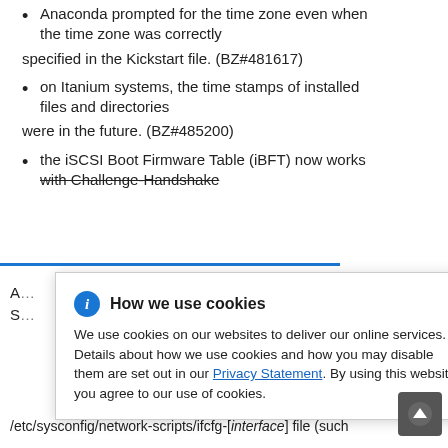Anaconda prompted for the time zone even when the time zone was correctly
specified in the Kickstart file. (BZ#481617)
on Itanium systems, the time stamps of installed files and directories
were in the future. (BZ#485200)
the iSCSI Boot Firmware Table (iBFT) now works with Challenge-Handshake
A ... -CHAP S...
... on device
... hich IPv6 was
[Figure (screenshot): Cookie consent dialog overlay with title 'How we use cookies', info icon, close button (×), body text about cookie usage with Privacy Statement link, and a scroll-to-top button in bottom right corner.]